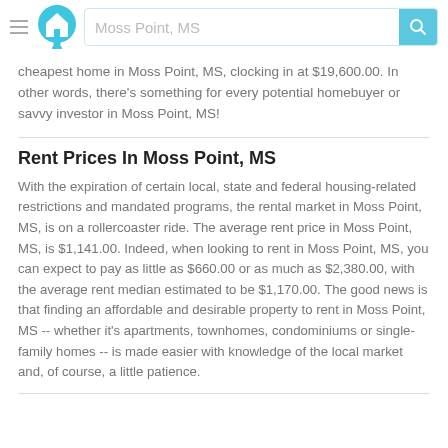Moss Point, MS
cheapest home in Moss Point, MS, clocking in at $19,600.00. In other words, there's something for every potential homebuyer or savvy investor in Moss Point, MS!
Rent Prices In Moss Point, MS
With the expiration of certain local, state and federal housing-related restrictions and mandated programs, the rental market in Moss Point, MS, is on a rollercoaster ride. The average rent price in Moss Point, MS, is $1,141.00. Indeed, when looking to rent in Moss Point, MS, you can expect to pay as little as $660.00 or as much as $2,380.00, with the average rent median estimated to be $1,170.00. The good news is that finding an affordable and desirable property to rent in Moss Point, MS -- whether it's apartments, townhomes, condominiums or single-family homes -- is made easier with knowledge of the local market and, of course, a little patience.